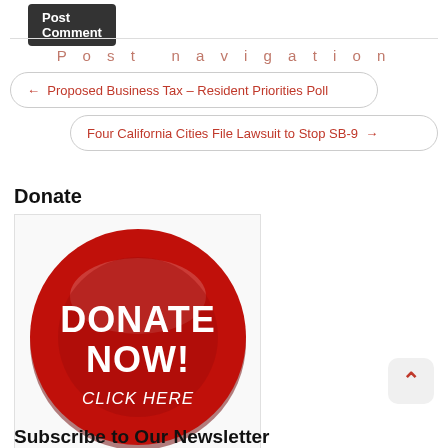[Figure (other): Post Comment button — dark grey rounded rectangle with white text]
Post navigation
← Proposed Business Tax – Resident Priorities Poll
Four California Cities File Lawsuit to Stop SB-9 →
Donate
[Figure (illustration): Round red glossy button with white bold text: DONATE NOW! CLICK HERE]
[Figure (other): Back to top arrow button — rounded grey square with red chevron up]
Subscribe to Our Newsletter